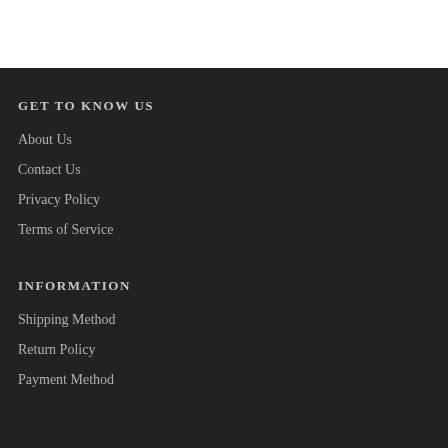GET TO KNOW US
About Us
Contact Us
Privacy Policy
Terms of Service
INFORMATION
Shipping Method
Return Policy
Payment Method